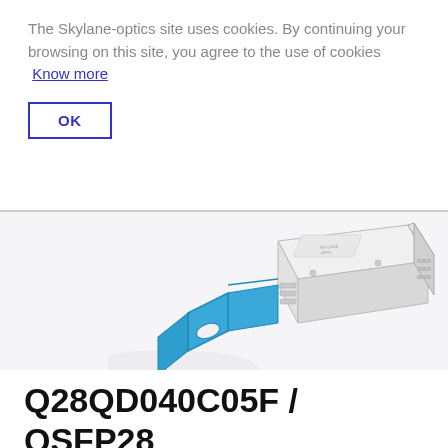The Skylane-optics site uses cookies. By continuing your browsing on this site, you agree to the use of cookies  Know more
OK
[Figure (photo): QSFP28 optical transceiver module with blue pull tab, shown in isometric/3D perspective view. White and light gray body with blue latch/bail lever.]
Q28QD040C05F / QSFP28 / 100GBase-ER4 Lite